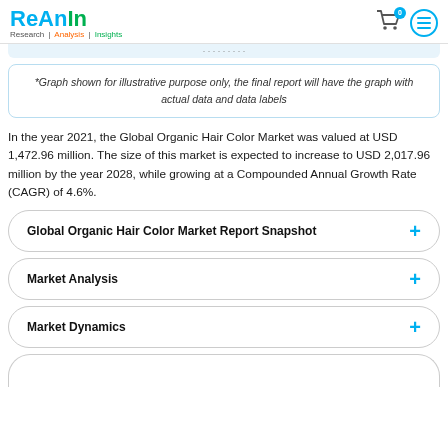ReAnIn Research | Analysis | Insights
*Graph shown for illustrative purpose only, the final report will have the graph with actual data and data labels
In the year 2021, the Global Organic Hair Color Market was valued at USD 1,472.96 million. The size of this market is expected to increase to USD 2,017.96 million by the year 2028, while growing at a Compounded Annual Growth Rate (CAGR) of 4.6%.
Global Organic Hair Color Market Report Snapshot
Market Analysis
Market Dynamics